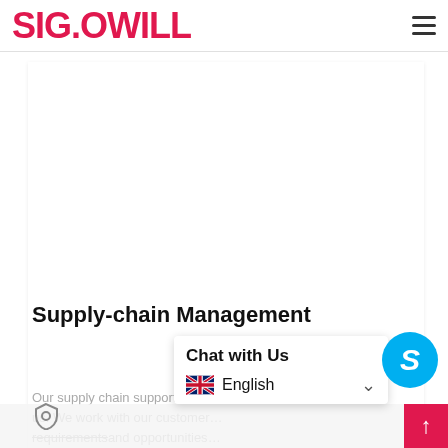SIG.OWILL
[Figure (other): Large white blank image/content area in the main panel]
Supply-chain Management
Our supply chain support is as ... 1 w... us. We work with our customer requirements and opportunities
[Figure (other): Chat with Us overlay popup with UK flag and English language selector]
[Figure (other): Skype circle button icon (blue circle with S)]
[Figure (other): Red scroll-up arrow button, bottom right]
[Figure (logo): Shield privacy icon, bottom left]